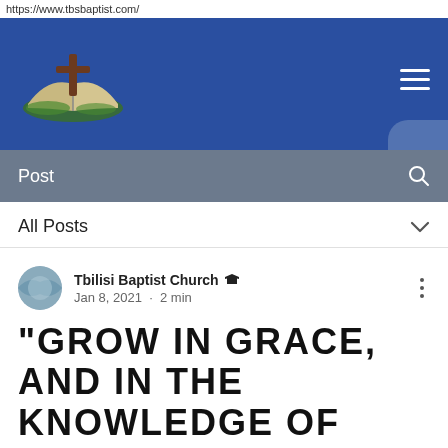https://www.tbsbaptist.com/
[Figure (screenshot): Website header banner with blue background showing church logo (cross above open book) and hamburger menu icon]
[Figure (screenshot): Navigation bar with 'Post' label and search icon on gray background]
All Posts
Tbilisi Baptist Church  Jan 8, 2021 · 2 min
"GROW IN GRACE, AND IN THE KNOWLEDGE OF OUR LORD AND SAVIOUR